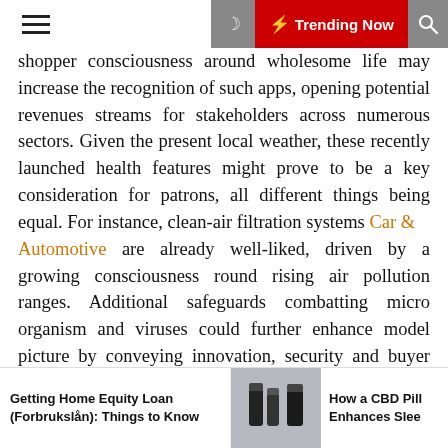☰ 🌙 ⚡ Trending Now 🔍
shopper consciousness around wholesome life may increase the recognition of such apps, opening potential revenues streams for stakeholders across numerous sectors. Given the present local weather, these recently launched health features might prove to be a key consideration for patrons, all different things being equal. For instance, clean-air filtration systems Car & Automotive are already well-liked, driven by a growing consciousness round rising air pollution ranges. Additional safeguards combatting micro organism and viruses could further enhance model picture by conveying innovation, security and buyer centricity. With most car gross sales in plenty of international locations occurring on-line due to COVID-19, car-buyers have gotten more conscious and accustomed to the concept of buying vehicles online. Dealers are enhancing their online promoting capabilities and utilizing unconventional
Getting Home Equity Loan (Forbrukslån): Things to Know | How a CBD Pill Enhances Slee